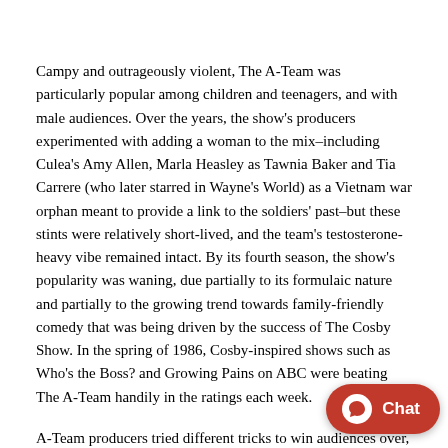Campy and outrageously violent, The A-Team was particularly popular among children and teenagers, and with male audiences. Over the years, the show's producers experimented with adding a woman to the mix–including Culea's Amy Allen, Marla Heasley as Tawnia Baker and Tia Carrere (who later starred in Wayne's World) as a Vietnam war orphan meant to provide a link to the soldiers' past–but these stints were relatively short-lived, and the team's testosterone-heavy vibe remained intact. By its fourth season, the show's popularity was waning, due partially to its formulaic nature and partially to the growing trend towards family-friendly comedy that was being driven by the success of The Cosby Show. In the spring of 1986, Cosby-inspired shows such as Who's the Boss? and Growing Pains on ABC were beating The A-Team handily in the ratings each week.
A-Team producers tried different tricks to win audiences over, including one episode centered on the popular game show Wheel of Fortune and various guest appearances by such prominent personalities as the pop star Boy George, the professional